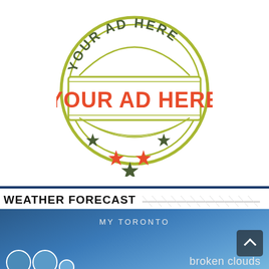[Figure (logo): Circular stamp-style logo with olive/yellow-green outline. Top arc text 'YOUR AD HERE' in dark olive/grey. Center banner with large orange bold text 'YOUR AD HERE'. Five stars below center: two orange, two dark olive/grey, one dark olive center. Decorative double ring border.]
WEATHER FORECAST
[Figure (screenshot): Weather widget showing 'MY TORONTO' label centered at top on a blue gradient background. Bottom right shows 'broken clouds' text. A dark scroll-up button appears on the right side. Weather icons partially visible at bottom left.]